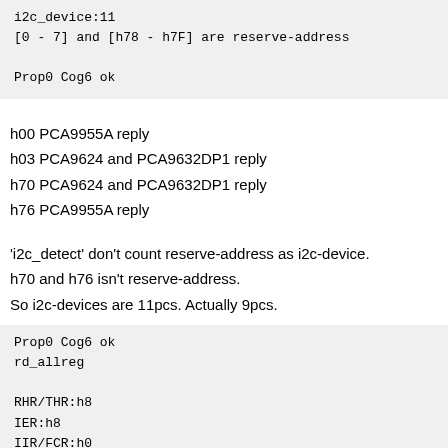i2c_device:11
[0 - 7] and [h78 - h7F] are reserve-address

Prop0 Cog6 ok
h00 PCA9955A reply
h03 PCA9624 and PCA9632DP1 reply
h70 PCA9624 and PCA9632DP1 reply
h76 PCA9955A reply
'i2c_detect' don't count reserve-address as i2c-device.
h70 and h76 isn't reserve-address.
So i2c-devices are 11pcs. Actually 9pcs.
Prop0 Cog6 ok
rd_allreg

RHR/THR:h8
IER:h8
IIR/FCR:h0
LCR:h0
MCR:h0
LSR:h0
MSR/TCR:h0
SPR/TLR:h0